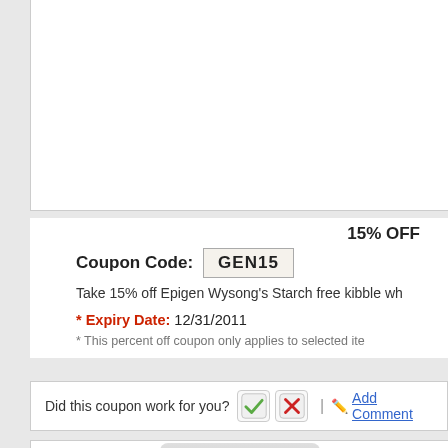[Figure (other): White product image area / card top section (product partially visible at top)]
15% OFF
Coupon Code: GEN15
Take 15% off Epigen Wysong's Starch free kibble wh
* Expiry Date: 12/31/2011
* This percent off coupon only applies to selected ite
Did this coupon work for you? | Add Comment
[Figure (photo): Product container image at bottom of page]